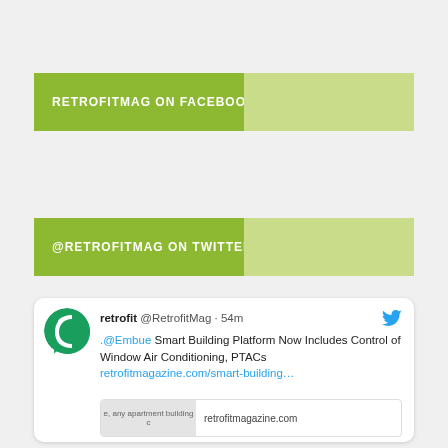RETROFITMAG ON FACEBOOK
@RETROFITMAG ON TWITTER
[Figure (screenshot): Embedded tweet from @RetrofitMag about Smart Building Platform including control of Window Air Conditioning, PTACs, with link to retrofitmagazine.com/smart-building...]